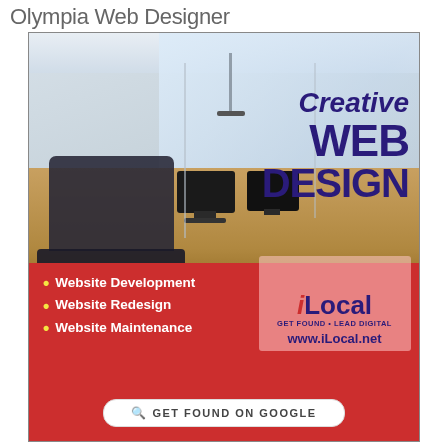Olympia Web Designer
[Figure (illustration): iLocal web design advertisement banner showing an office interior with chairs, desk, and monitors. Dark blue text reads 'Creative WEB DESIGN' on the right. Red banner at bottom lists bullet points: Website Development, Website Redesign, Website Maintenance. iLocal logo with www.iLocal.net and a 'GET FOUND ON GOOGLE' search bar button.]